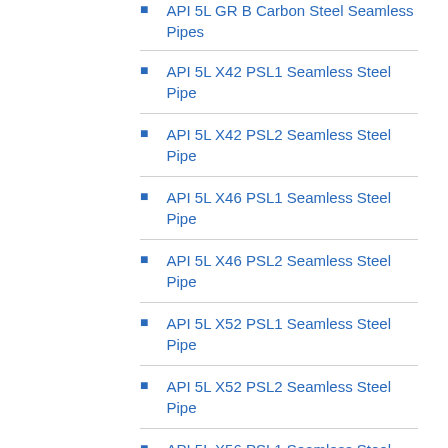API 5L GR B Carbon Steel Seamless Pipes
API 5L X42 PSL1 Seamless Steel Pipe
API 5L X42 PSL2 Seamless Steel Pipe
API 5L X46 PSL1 Seamless Steel Pipe
API 5L X46 PSL2 Seamless Steel Pipe
API 5L X52 PSL1 Seamless Steel Pipe
API 5L X52 PSL2 Seamless Steel Pipe
API 5L X56 PSL1 Seamless Steel Pipe
API 5L X56 PSL2 Seamless Steel Pipe
API 5L Gr B Carbon Steel ERW Pipes and Tubes
A333 GR. 3/6 Carbon Steel Seamless Pipes
Alloy Steel Pipes & Tubes
Mild Steel Pipes & Tubes
Ductile Iron Spun Pipe & Ductile Iron Flanged Pipe Cast